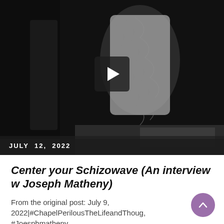[Figure (screenshot): Video thumbnail showing a dark black-and-white image of a person with a play button overlay in the center]
JULY 12, 2022
Center your Schizowave (An interview w Joseph Matheny)
From the original post: July 9, 2022|#ChapelPerilousTheLifeandThoug, #Joesphmatheny,